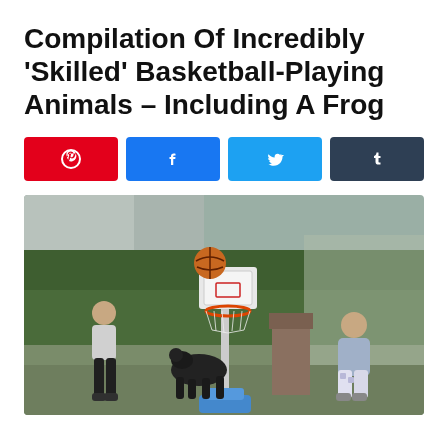Compilation Of Incredibly 'Skilled' Basketball-Playing Animals – Including A Frog
[Figure (other): Four social share buttons in a row: Pinterest (red), Facebook (blue), Twitter (light blue), Tumblr (dark slate). Each button shows the platform icon in white.]
[Figure (photo): Outdoor backyard scene with two people and a dark animal (possibly a dog) playing around a portable basketball hoop. A basketball is visible in the air above the hoop. Background shows green hedges/trees and a grey building wall.]